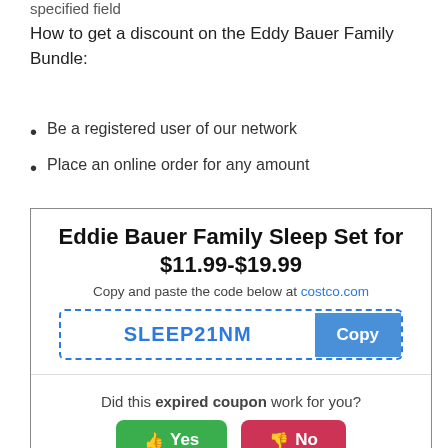specified field
How to get a discount on the Eddy Bauer Family Bundle:
Be a registered user of our network
Place an online order for any amount
[Figure (infographic): Coupon box for Eddie Bauer Family Sleep Set for $11.99-$19.99 with code SLEEP21NM and a Copy button, plus a feedback section asking if the expired coupon worked with Yes and No buttons.]